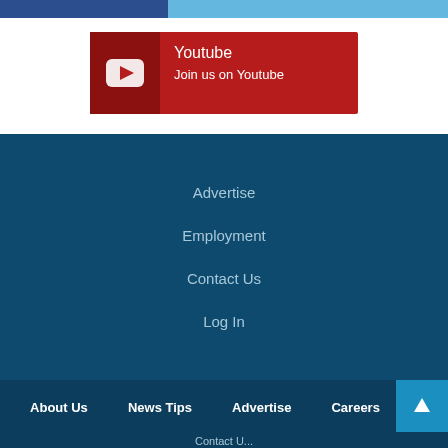[Figure (screenshot): Top navigation bar with dark blue left section and light blue right section]
[Figure (infographic): YouTube social media card with play button icon. Title: Youtube. Subtitle: Join us on Youtube. Red card with dark red icon box on left.]
Advertise
Employment
Contact Us
Log In
About Us   News Tips   Advertise   Careers
Contact U...